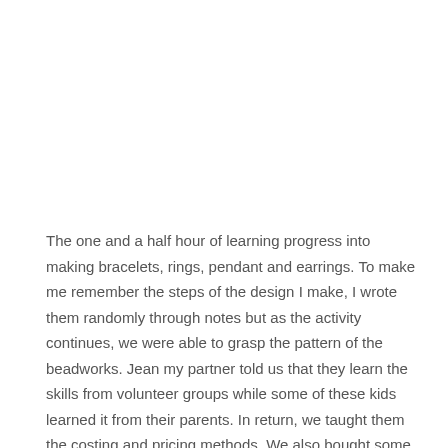The one and a half hour of learning progress into making bracelets, rings, pendant and earrings. To make me remember the steps of the design I make, I wrote them randomly through notes but as the activity continues, we were able to grasp the pattern of the beadworks. Jean my partner told us that they learn the skills from volunteer groups while some of these kids learned it from their parents. In return, we taught them the costing and pricing methods. We also bought some of the kid's finished products as well the beadworks we've created.